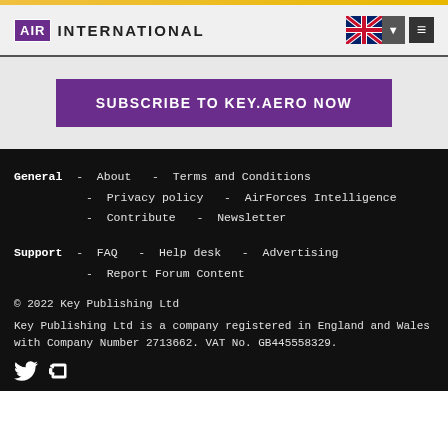AIR INTERNATIONAL
SUBSCRIBE TO KEY.AERO NOW
General - About - Terms and Conditions - Privacy policy - AirForces Intelligence - Contribute - Newsletter
Support - FAQ - Help desk - Advertising - Report Forum Content
© 2022 Key Publishing Ltd
Key Publishing Ltd is a company registered in England and Wales with Company Number 2713662. VAT No. GB445558329.